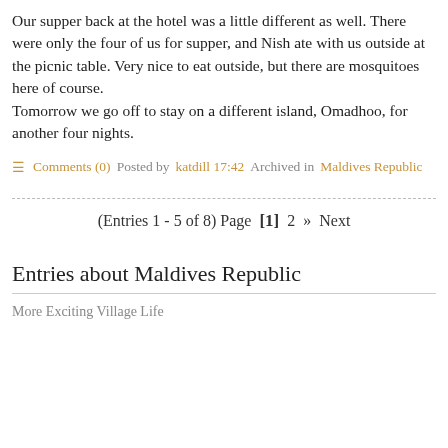Our supper back at the hotel was a little different as well. There were only the four of us for supper, and Nish ate with us outside at the picnic table. Very nice to eat outside, but there are mosquitoes here of course.
Tomorrow we go off to stay on a different island, Omadhoo, for another four nights.
Comments (0)  Posted by katdill 17:42  Archived in Maldives Republic
(Entries 1 - 5 of 8) Page  [1]  2  »  Next
Entries about Maldives Republic
More Exciting Village Life